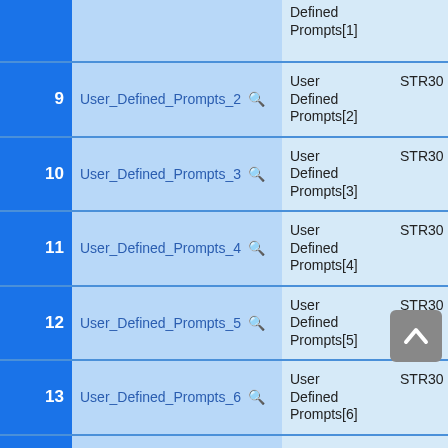| # | Field Name | Description | Type |
| --- | --- | --- | --- |
|  |  | Defined
Prompts[1] |  |
| 9 | User_Defined_Prompts_2 | User Defined Prompts[2] | STR30 |
| 10 | User_Defined_Prompts_3 | User Defined Prompts[3] | STR30 |
| 11 | User_Defined_Prompts_4 | User Defined Prompts[4] | STR30 |
| 12 | User_Defined_Prompts_5 | User Defined Prompts[5] | STR30 |
| 13 | User_Defined_Prompts_6 | User Defined Prompts[6] | STR30 |
| 14 | User_Defined_Prompts_7 | User Defined Prompts[7] | STR30 |
| 15 | User_Defined_Prompts_8 | User | STR30 |